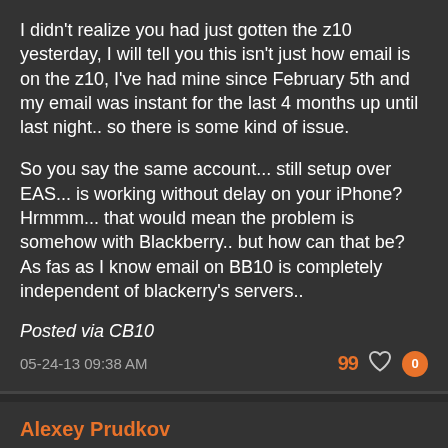I didn't realize you had just gotten the z10 yesterday, I will tell you this isn't just how email is on the z10, I've had mine since February 5th and my email was instant for the last 4 months up until last night.. so there is some kind of issue.
So you say the same account... still setup over EAS... is working without delay on your iPhone? Hrmmm... that would mean the problem is somehow with Blackberry.. but how can that be? As fas as I know email on BB10 is completely independent of blackerry's servers..
Posted via CB10
05-24-13 09:38 AM
Alexey Prudkov
Well, yesterday email was instant for me too.
Just double-checked - email is instantly pushed to iPhone, for the same account, as fast as